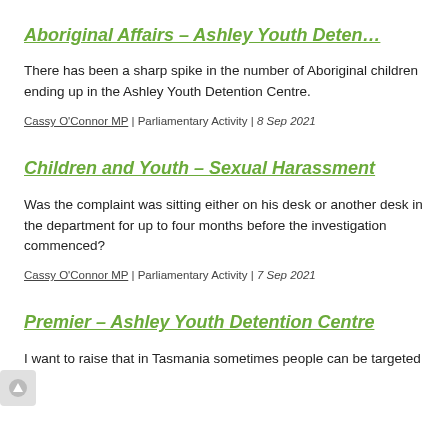Aboriginal Affairs – Ashley Youth Deten…
There has been a sharp spike in the number of Aboriginal children ending up in the Ashley Youth Detention Centre.
Cassy O'Connor MP | Parliamentary Activity | 8 Sep 2021
Children and Youth – Sexual Harassment
Was the complaint was sitting either on his desk or another desk in the department for up to four months before the investigation commenced?
Cassy O'Connor MP | Parliamentary Activity | 7 Sep 2021
Premier – Ashley Youth Detention Centre
I want to raise that in Tasmania sometimes people can be targeted